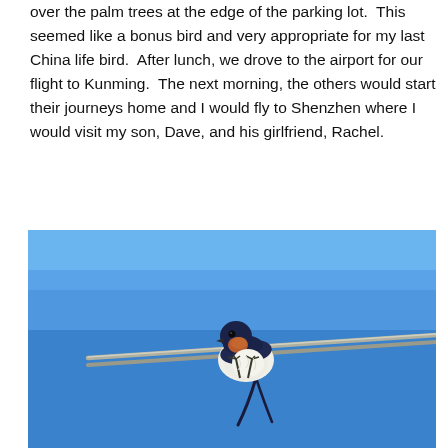over the palm trees at the edge of the parking lot. This seemed like a bonus bird and very appropriate for my last China life bird. After lunch, we drove to the airport for our flight to Kunming. The next morning, the others would start their journeys home and I would fly to Shenzhen where I would visit my son, Dave, and his girlfriend, Rachel.
[Figure (photo): A barn swallow perched on a wire cable against a bright blue sky. The bird has a dark blue-black head and back, an orange-rufous throat, and a white/cream underside. It is facing slightly left, perched on a thick twisted wire or cable.]